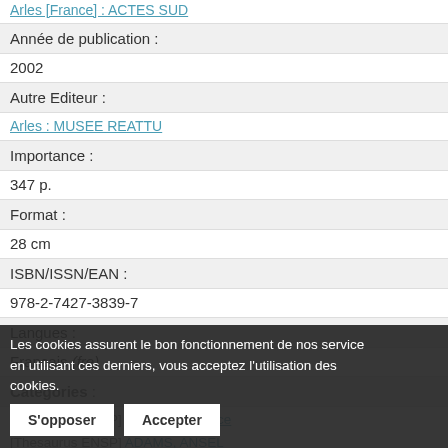Arles [France] : ACTES SUD
Année de publication :
2002
Autre Editeur :
Arles : MUSEE REATTU
Importance :
347 p.
Format :
28 cm
ISBN/ISSN/EAN :
978-2-7427-3839-7
Langues :
Français (fre)
Catégories :
[Thesaurus ENSP] ABBITT, Berenice
[Thesaurus ENSP] ADAMS, ANSEL
[Thesaurus ENSP] ADELMANN
[Thesaurus ENSP] ALLARD
Les cookies assurent le bon fonctionnement de nos service en utilisant ces derniers, vous acceptez l'utilisation des cookies.